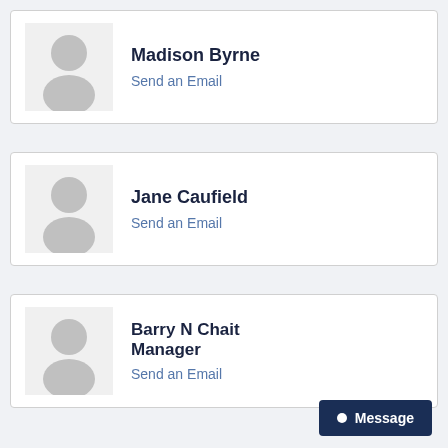Madison Byrne
Send an Email
Jane Caufield
Send an Email
Barry N Chait Manager
Send an Email
Message